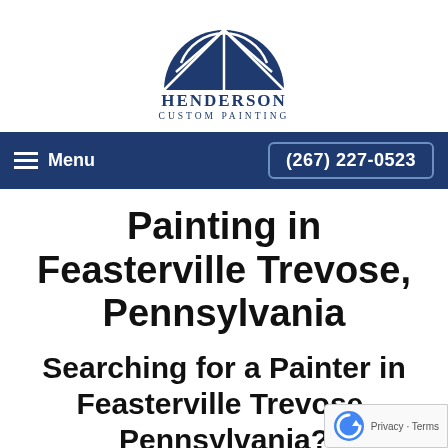[Figure (logo): Henderson Custom Painting logo with dark blue semicircle arch/window graphic above the company name text]
Menu | (267) 227-0523
Painting in Feasterville Trevose, Pennsylvania
Searching for a Painter in Feasterville Trevose, Pennsylvania?
With many painting contractors in Feasterville Trevose, Pennsylvania to choose from, choosing the right team for